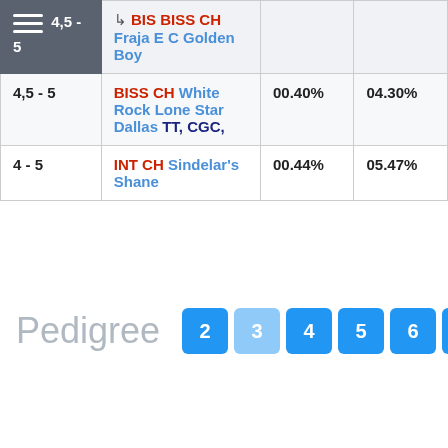|  | Name | Col3 | Col4 |
| --- | --- | --- | --- |
| 4,5 - 5 | ↳ BIS BISS CH Fraja E C Golden Boy |  |  |
| 4,5 - 5 | BISS CH White Rock Lone Star Dallas TT, CGC, | 00.40% | 04.30% |
| 4 - 5 | INT CH Sindelar's Shane | 00.44% | 05.47% |
Pedigree
2 3 4 5 6 7